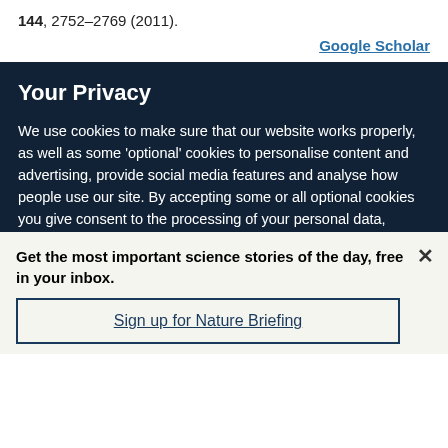144, 2752–2769 (2011).
Google Scholar
Your Privacy
We use cookies to make sure that our website works properly, as well as some 'optional' cookies to personalise content and advertising, provide social media features and analyse how people use our site. By accepting some or all optional cookies you give consent to the processing of your personal data, including transfer to third parties, some in countries outside of the European Economic Area that do not offer the same data protection standards as the country where you live. You can decide which optional cookies to accept by clicking on 'Manage Settings', where you can
Get the most important science stories of the day, free in your inbox.
Sign up for Nature Briefing